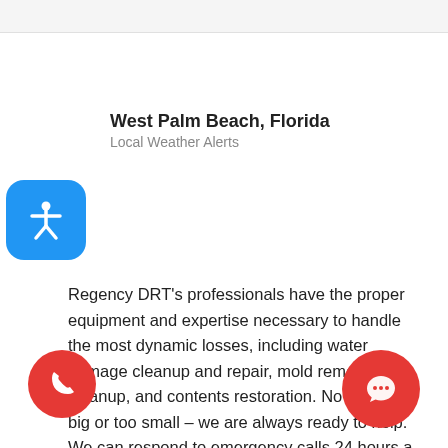West Palm Beach, Florida
Local Weather Alerts
[Figure (illustration): Blue rounded square icon with white accessibility figure (person with outstretched arms)]
Regency DRT's professionals have the proper equipment and expertise necessary to handle the most dynamic losses, including water damage cleanup and repair, mold removal and cleanup, and contents restoration. No job is too big or too small – we are always ready to help. We can respond to emergency calls 24 hours a day, 365 days a year. Our smart emergency call center is equipped with dedicated hotlines to facilitate quick response time to all emergency
[Figure (illustration): Red circular phone call button with white handset icon]
[Figure (illustration): Red circular chat/messaging button with white speech bubble and ellipsis icon]